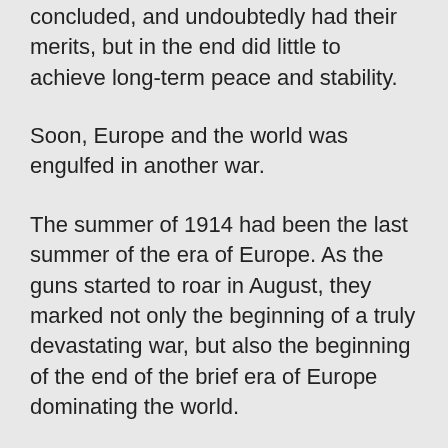concluded, and undoubtedly had their merits, but in the end did little to achieve long-term peace and stability.
Soon, Europe and the world was engulfed in another war.
The summer of 1914 had been the last summer of the era of Europe. As the guns started to roar in August, they marked not only the beginning of a truly devastating war, but also the beginning of the end of the brief era of Europe dominating the world.
And ever since, the question of why did this happen, how or what was responsible, and could it have been